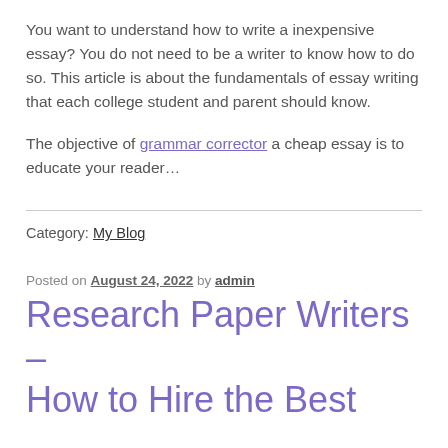You want to understand how to write a inexpensive essay? You do not need to be a writer to know how to do so. This article is about the fundamentals of essay writing that each college student and parent should know.
The objective of grammar corrector a cheap essay is to educate your reader…
Category: My Blog
Posted on August 24, 2022 by admin
Research Paper Writers – How to Hire the Best